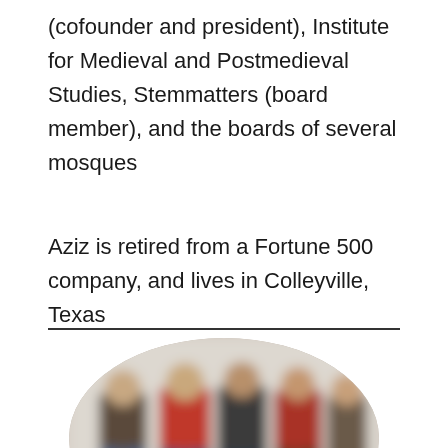(cofounder and president), Institute for Medieval and Postmedieval Studies, Stemmatters (board member), and the boards of several mosques
Aziz is retired from a Fortune 500 company, and lives in Colleyville, Texas
[Figure (photo): An oval-cropped blurred group photo showing several people standing indoors against a light-colored wall.]